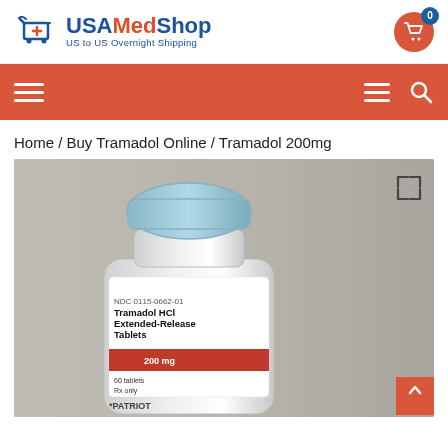[Figure (logo): USAMedShop logo with shopping cart icon and tagline 'US to US Overnight Shipping']
[Figure (infographic): Orange navigation bar with hamburger menus and search icon]
Home / Buy Tramadol Online / Tramadol 200mg
[Figure (photo): Photo of Tramadol HCl Extended-Release Tablets bottle (200mg, Patriot brand) with a gray background]